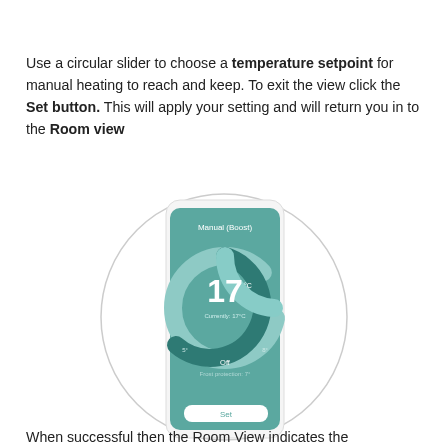Use a circular slider to choose a temperature setpoint for manual heating to reach and keep. To exit the view click the Set button. This will apply your setting and will return you in to the Room view
[Figure (screenshot): A circular thermostat app screen showing Manual (Boost) mode with a circular slider set to 17 degrees, a dark teal arc indicating the selected temperature, and a Set button at the bottom.]
When successful then the Room View indicates the